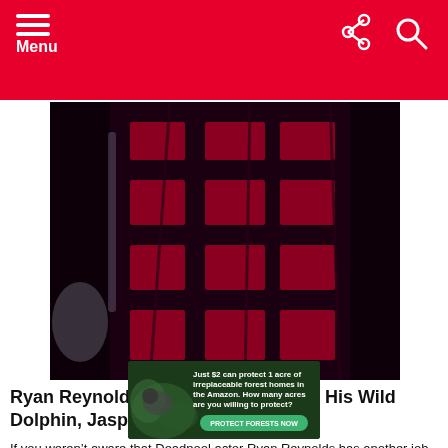Menu
[Figure (photo): Close-up photo of a person wearing a dark red and black plaid/flannel outfit, appears to be Ryan Reynolds]
Ryan Reynolds Replied To Us About His Wild Dolphin, Jasper-Barnaby 🐬
If you weren't aware that Deadpool actor Ryan Reynolds has another job as the owner of a gin company then [...] MORE
[Figure (infographic): Advertisement banner: Just $2 can protect 1 acre of irreplaceable forest homes in the Amazon. How many acres are you willing to protect? PROTECT FORESTS NOW]